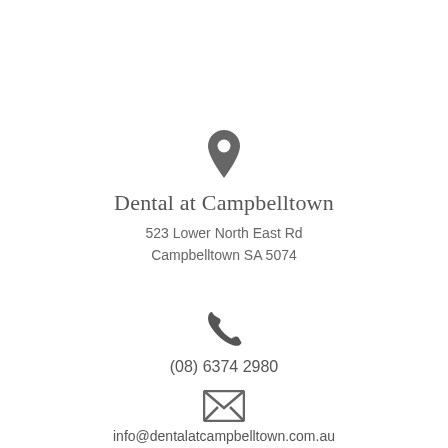[Figure (illustration): Map pin / location icon in dark grey]
Dental at Campbelltown
523 Lower North East Rd
Campbelltown SA 5074
[Figure (illustration): Telephone handset icon in dark grey]
(08) 6374 2980
[Figure (illustration): Envelope / email icon in dark grey]
info@dentalatcampbelltown.com.au